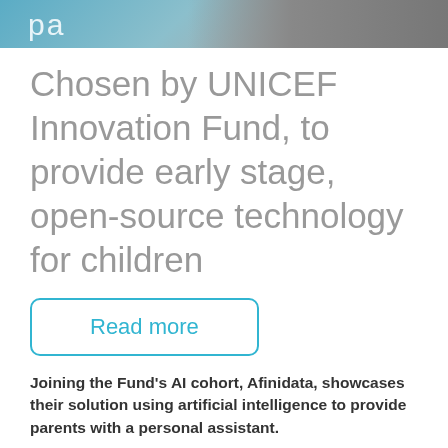[Figure (photo): Partial photo showing a person at a booth with 'pa' visible on a blue banner, conference/exhibition setting]
Chosen by UNICEF Innovation Fund, to provide early stage, open-source technology for children
Read more
Joining the Fund’s AI cohort, Afinidata, showcases their solution using artificial intelligence to provide parents with a personal assistant.